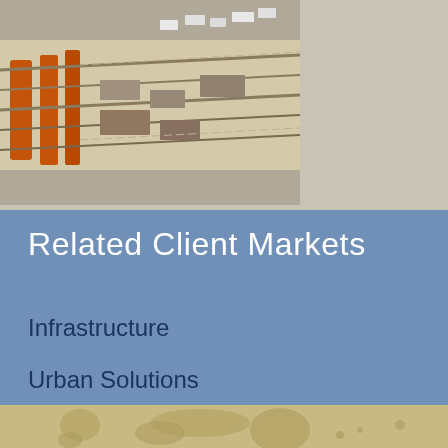[Figure (photo): Aerial photograph of railway tracks and freight yard with trucks and cargo]
Related Client Markets
Infrastructure
Urban Solutions
[Figure (map): Partial world map shown in tan/beige tones at bottom of page]